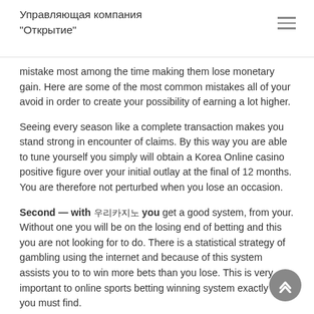Управляющая компания "Открытие"
mistake most among the time making them lose monetary gain. Here are some of the most common mistakes all of your avoid in order to create your possibility of earning a lot higher.
Seeing every season like a complete transaction makes you stand strong in encounter of claims. By this way you are able to tune yourself you simply will obtain a Korea Online casino positive figure over your initial outlay at the final of 12 months. You are therefore not perturbed when you lose an occasion.
Second — with 우리카지노 you get a good system, from your. Without one you will be on the losing end of betting and this you are not looking for to do. There is a statistical strategy of gambling using the internet and because of this system assists you to to win more bets than you lose. This is very important to online sports betting winning system exactly what you must find.